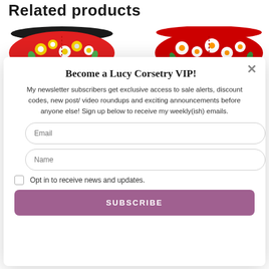Related products
[Figure (photo): Two floral patterned face masks shown side by side — left mask has yellow and white daisies on a red background with a black trim, right mask has white and orange flowers on a deep red background.]
Become a Lucy Corsetry VIP!
My newsletter subscribers get exclusive access to sale alerts, discount codes, new post/ video roundups and exciting announcements before anyone else! Sign up below to receive my weekly(ish) emails.
Email
Name
Opt in to receive news and updates.
SUBSCRIBE